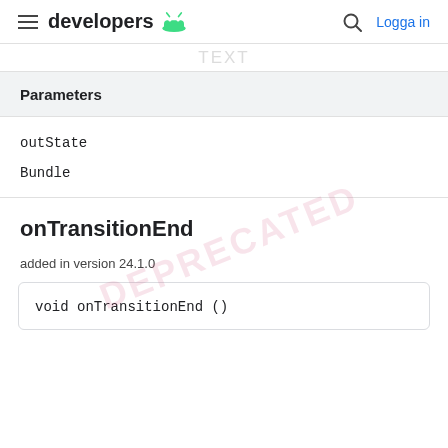developers  Logga in
Parameters
| outState |
| Bundle |
onTransitionEnd
added in version 24.1.0
void onTransitionEnd ()